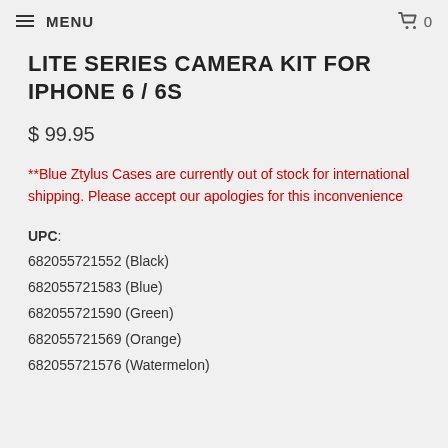MENU  0
LITE SERIES CAMERA KIT FOR IPHONE 6 / 6S
$ 99.95
**Blue Ztylus Cases are currently out of stock for international shipping. Please accept our apologies for this inconvenience
UPC: 682055721552 (Black) 682055721583 (Blue) 682055721590 (Green) 682055721569 (Orange) 682055721576 (Watermelon)